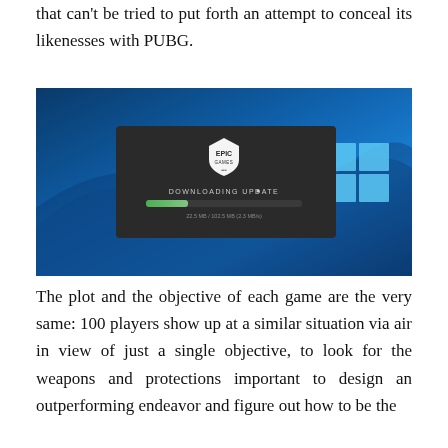that can't be tried to put forth an attempt to conceal its likenesses with PUBG.
[Figure (screenshot): Screenshot of Epic Games launcher showing 'DOWNLOADING UPDATE' progress bar with text '22.5 MB / 102.5 MB (2.3 MB/s)' on a Windows 10 desktop background.]
The plot and the objective of each game are the very same: 100 players show up at a similar situation via air in view of just a single objective, to look for the weapons and protections important to design an outperforming endeavor and figure out how to be the